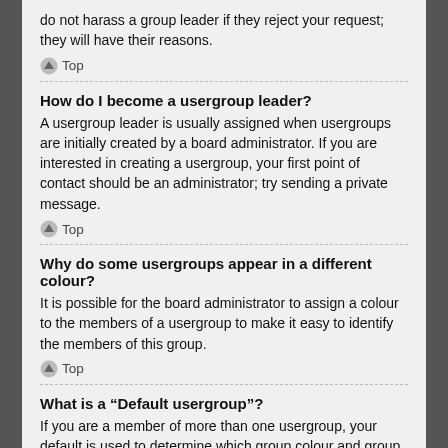do not harass a group leader if they reject your request; they will have their reasons.
Top
How do I become a usergroup leader?
A usergroup leader is usually assigned when usergroups are initially created by a board administrator. If you are interested in creating a usergroup, your first point of contact should be an administrator; try sending a private message.
Top
Why do some usergroups appear in a different colour?
It is possible for the board administrator to assign a colour to the members of a usergroup to make it easy to identify the members of this group.
Top
What is a “Default usergroup”?
If you are a member of more than one usergroup, your default is used to determine which group colour and group rank should be shown for you by default. The board administrator may grant you permission to change your default usergroup via your User Control Panel.